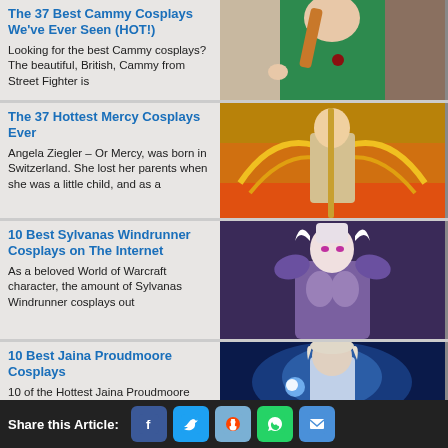The 37 Best Cammy Cosplays We've Ever Seen (HOT!)
Looking for the best Cammy cosplays?  The beautiful, British, Cammy from Street Fighter is
[Figure (photo): Cammy cosplay photo - woman in green outfit with red braid]
The 37 Hottest Mercy Cosplays Ever
Angela Ziegler – Or Mercy, was born in Switzerland. She lost her parents when she was a little child, and as a
[Figure (photo): Mercy cosplay photo - woman in Overwatch Mercy angel costume with golden wings and fire]
10 Best Sylvanas Windrunner Cosplays on The Internet
As a beloved World of Warcraft character, the amount of Sylvanas Windrunner cosplays out
[Figure (photo): Sylvanas Windrunner cosplay photo - woman in purple armor with white hair]
10 Best Jaina Proudmoore Cosplays
10 of the Hottest Jaina Proudmoore Cosplays On The Internet. A
[Figure (photo): Jaina Proudmoore cosplay photo - woman in blue magical outfit]
Share this Article: